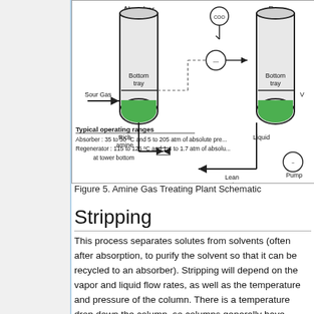[Figure (schematic): Amine Gas Treating Plant Schematic showing Absorber and Regenerator vessels. Absorber has 'Sour Gas' feed arrow, 'Bottom tray' label, green liquid pool, 'Rich amine' outlet with valve. Regenerator has 'Bottom tray', green liquid pool, 'Lean amine' return with pump. A pressure gauge (COO) and control instruments are shown. Typical operating ranges text: Absorber: 35 to 50 °C and 5 to 205 atm of absolute pre... Regenerator: 115 to 126 °C and 1.4 to 1.7 atm of absolu... at tower bottom.]
Figure 5. Amine Gas Treating Plant Schematic
Stripping
This process separates solutes from solvents (often after absorption, to purify the solvent so that it can be recycled to an absorber). Stripping will depend on the vapor and liquid flow rates, as well as the temperature and pressure of the column. There is a temperature drop down the column, so columns generally have either an increased operating temperature or...